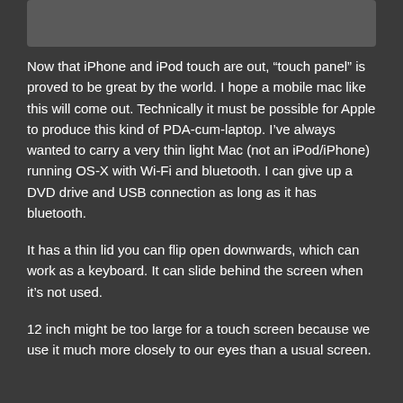[Figure (other): Dark gray rectangular bar at the top of the page]
Now that iPhone and iPod touch are out, “touch panel” is proved to be great by the world. I hope a mobile mac like this will come out. Technically it must be possible for Apple to produce this kind of PDA-cum-laptop. I’ve always wanted to carry a very thin light Mac (not an iPod/iPhone) running OS-X with Wi-Fi and bluetooth. I can give up a DVD drive and USB connection as long as it has bluetooth.
It has a thin lid you can flip open downwards, which can work as a keyboard. It can slide behind the screen when it’s not used.
12 inch might be too large for a touch screen because we use it much more closely to our eyes than a usual screen.